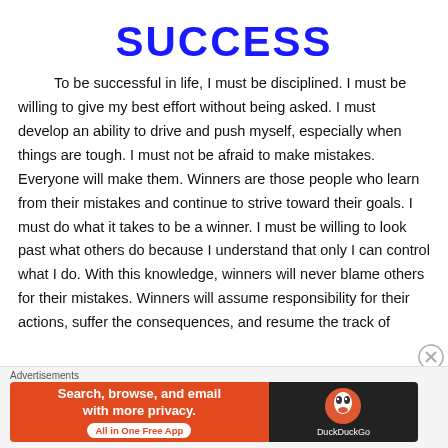SUCCESS
To be successful in life, I must be disciplined. I must be willing to give my best effort without being asked. I must develop an ability to drive and push myself, especially when things are tough. I must not be afraid to make mistakes. Everyone will make them. Winners are those people who learn from their mistakes and continue to strive toward their goals. I must do what it takes to be a winner. I must be willing to look past what others do because I understand that only I can control what I do. With this knowledge, winners will never blame others for their mistakes. Winners will assume responsibility for their actions, suffer the consequences, and resume the track of
Advertisements
[Figure (other): DuckDuckGo advertisement banner: orange left panel with text 'Search, browse, and email with more privacy. All in One Free App' and dark right panel with DuckDuckGo logo and name.]